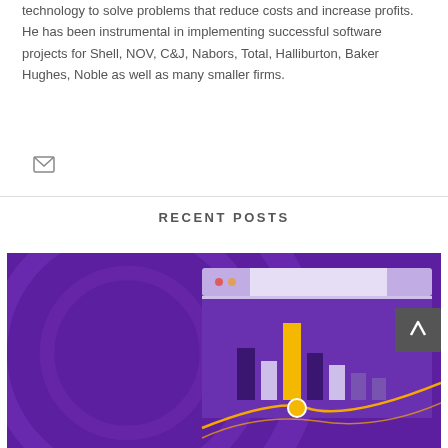technology to solve problems that reduce costs and increase profits. He has been instrumental in implementing successful software projects for Shell, NOV, C&J, Nabors, Total, Halliburton, Baker Hughes, Noble as well as many smaller firms.
[Figure (illustration): Email/envelope icon in gray outline style]
RECENT POSTS
[Figure (illustration): Purple-themed illustration showing a browser window with a bar chart featuring yellow, dark purple, and white bars, a gold/yellow circular data point, and orange curved lines, set against a deep purple background with circular design elements. A dark gray/charcoal scroll-to-top button with a white chevron appears in the upper right corner.]